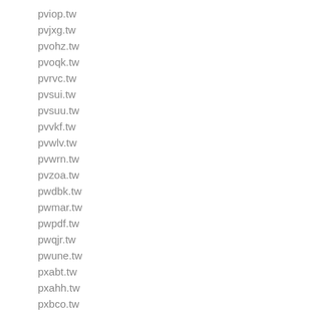pviop.tw
pvjxg.tw
pvohz.tw
pvoqk.tw
pvrvc.tw
pvsui.tw
pvsuu.tw
pvvkf.tw
pvwlv.tw
pvwrn.tw
pvzoa.tw
pwdbk.tw
pwmar.tw
pwpdf.tw
pwqjr.tw
pwune.tw
pxabt.tw
pxahh.tw
pxbco.tw
pxdbi.tw
pxdjb.tw
pxgcb.tw
pxiec.tw
pxnsk.tw